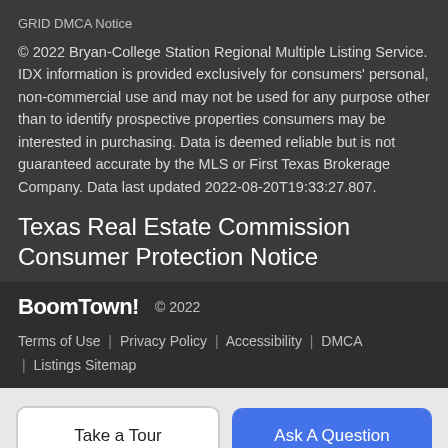GRID DMCA Notice
© 2022 Bryan-College Station Regional Multiple Listing Service. IDX information is provided exclusively for consumers' personal, non-commercial use and may not be used for any purpose other than to identify prospective properties consumers may be interested in purchasing. Data is deemed reliable but is not guaranteed accurate by the MLS or First Texas Brokerage Company. Data last updated 2022-08-20T19:33:27.807.
Texas Real Estate Commission Consumer Protection Notice
BoomTown!  © 2022
Terms of Use | Privacy Policy | Accessibility | DMCA | Listings Sitemap
Take a Tour
Ask A Question